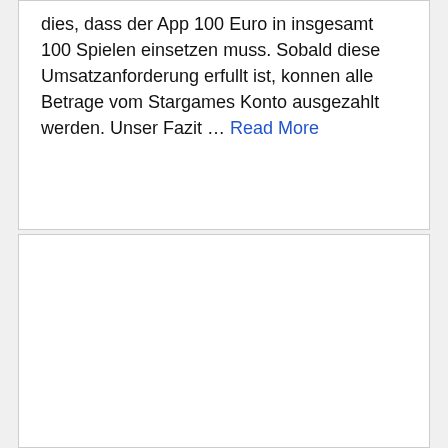dies, dass der App 100 Euro in insgesamt 100 Spielen einsetzen muss. Sobald diese Umsatzanforderung erfullt ist, konnen alle Betrage vom Stargames Konto ausgezahlt werden. Unser Fazit … Read More